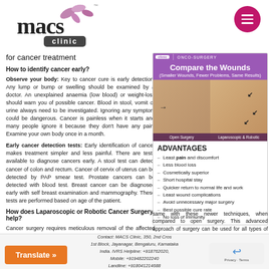[Figure (logo): MACS Clinic logo with stylized text and leaf decorations, with a clinic badge below]
for cancer treatment
How to identify cancer early?
Observe your body: Key to cancer cure is early detection. Any lump or bump or swelling should be examined by a doctor. An unexplained anaemia (low blood) or weight-loss should warn you of possible cancer. Blood in stool, vomit or urine always need to be investigated. Ignoring any symptom could be dangerous. Cancer is painless when it starts and many people ignore it because they don't have any pain. Examine your own body once in a month.
Early cancer detection tests: Early identification of cancer makes treatment simpler and less painful. There are tests available to diagnose cancers early. A stool test can detect cancer of colon and rectum. Cancer of cervix of uterus can be detected by PAP smear test. Prostate cancers can be detected with blood test. Breast cancer can be diagnosed early with self breast examination and mammography. These tests are performed based on age of the patient.
How does Laparoscopic or Robotic Cancer Surgery help?
Cancer surgery requires meticulous removal of the affected organ along with its draining areas. Conventionally, cancer surgery has been performed by open approach, wherein large wounds are made to remove the cancer tissue from
[Figure (photo): Comparison image showing open surgery wound versus laparoscopic and robotic surgery wounds on abdomen, with title 'Compare the Wounds (Smaller Wounds, Fewer Problems, Same Results)']
Least pain and discomfort
Less blood loss
Cosmetically superior
Short hospital stay
Quicker return to normal life and work
Least wound complications
Avoid unnecessary major surgery
Best possible cure rate
No loss of immunity
same with these newer techniques, when compared to open surgery. This advanced approach of surgery can be used for all types of canc
Contact: MACS Clinic, 350, 2nd Cros, 1st Block, Jayanagar, Bengaluru, Karnataka, India. IVRS Helpline: +918762020, Mobile: +919482202240 Landline: +918041214688